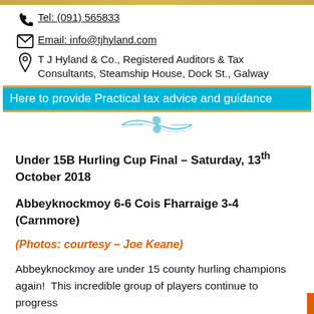Tel: (091) 565833
Email: info@tjhyland.com
T J Hyland & Co., Registered Auditors & Tax Consultants, Steamship House, Dock St., Galway
Here to provide Practical tax advice and guidance
Under 15B Hurling Cup Final – Saturday, 13th October 2018
Abbeyknockmoy 6-6 Cois Fharraige 3-4 (Carnmore)
(Photos: courtesy – Joe Keane)
Abbeyknockmoy are under 15 county hurling champions again!  This incredible group of players continue to progress